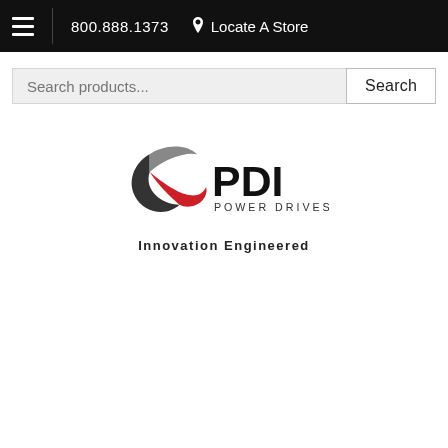800.888.1373  Locate A Store
Search products...
[Figure (logo): PDI Power Drives logo with swoosh icon and text 'PDI POWER DRIVES' and tagline 'Innovation Engineered']